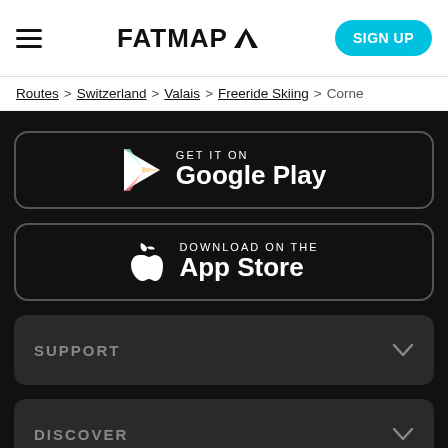FATMAP
Routes > Switzerland > Valais > Freeride Skiing > Corne
[Figure (screenshot): Google Play store badge button on dark background]
[Figure (screenshot): App Store download badge button on dark background]
SUPPORT
DISCOVER